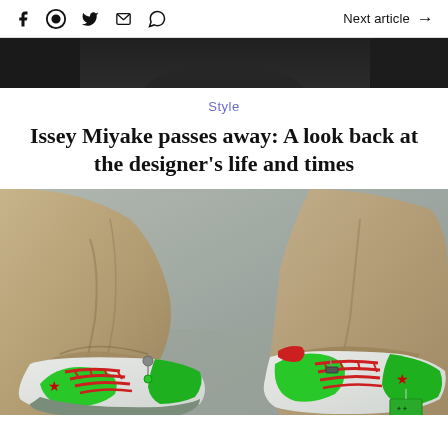Social share icons | Next article →
[Figure (photo): Top portion of a person in dark clothing, cropped at chest level, dark background]
Style
Issey Miyake passes away: A look back at the designer's life and times
[Figure (photo): Close-up photo of a person wearing khaki/tan corduroy trousers and colorful sneakers (green, grey, red, white) with red laces and green star logo, shot from ground level]